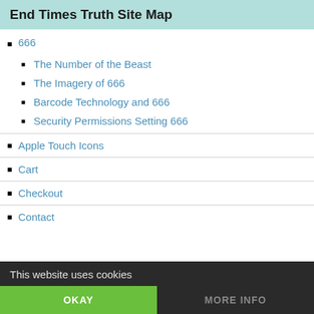End Times Truth Site Map
666
The Number of the Beast
The Imagery of 666
Barcode Technology and 666
Security Permissions Setting 666
Apple Touch Icons
Cart
Checkout
Contact
This website uses cookies
OKAY
MORE INFO